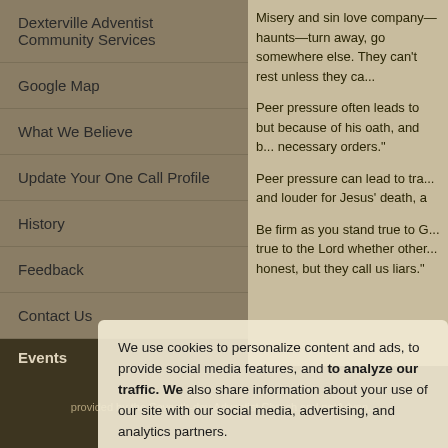Dexterville Adventist Community Services
Google Map
What We Believe
Update Your One Call Profile
History
Feedback
Contact Us
Events
No upcoming events
Misery and sin love company—haunts—turn away, go somewhere else. They can't rest unless they ca...
Peer pressure often leads to bad decisions. but because of his oath, and because necessary orders."
Peer pressure can lead to tragedy... and louder for Jesus' death, a
Be firm as you stand true to G... true to the Lord whether other... honest, but they call us liars."
We use cookies to personalize content and ads, to provide social media features, and to analyze our traffic. We also share information about your use of our site with our social media, advertising, and analytics partners.
provided by the Seventh-day Adventist Church and netAdven...
Cookie Settings
Accept All Cookies